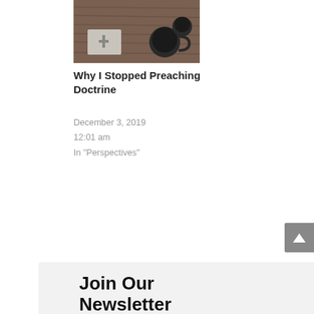[Figure (photo): Photo of a Bible or cross on a wooden surface with a coffee mug, overhead view]
Why I Stopped Preaching Doctrine
December 3, 2019
12:01 am
In "Perspectives"
Join Our Newsletter